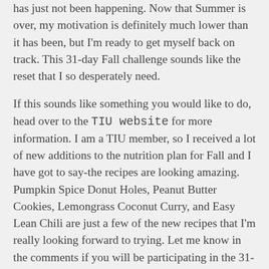has just not been happening. Now that Summer is over, my motivation is definitely much lower than it has been, but I'm ready to get myself back on track. This 31-day Fall challenge sounds like the reset that I so desperately need.
If this sounds like something you would like to do, head over to the TIU website for more information. I am a TIU member, so I received a lot of new additions to the nutrition plan for Fall and I have got to say-the recipes are looking amazing. Pumpkin Spice Donut Holes, Peanut Butter Cookies, Lemongrass Coconut Curry, and Easy Lean Chili are just a few of the new recipes that I'm really looking forward to trying. Let me know in the comments if you will be participating in the 31-day Fall challenge!
[Figure (other): Broken image placeholder with caption 'TIU Fall Challenge | Busy Girl Healthy World']